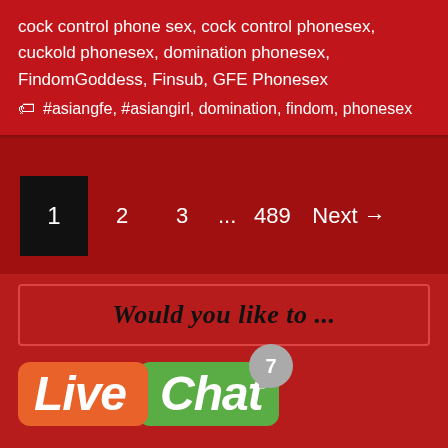cock control phone sex, cock control phonesex, cuckold phonesex, domination phonesex, FindomGoddess, Finsub, GFE Phonesex
#asiangfe, #asiangirl, domination, findom, phonesex
1  2  3  ...  489  Next →
Would you like to ...
[Figure (logo): LiveChat logo with orange 'Live' badge and green 'Chat' badge with speech bubble notification showing number 7]